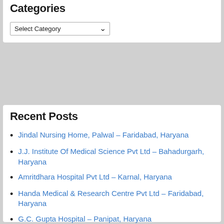Categories
Select Category
Recent Posts
Jindal Nursing Home, Palwal – Faridabad, Haryana
J.J. Institute Of Medical Science Pvt Ltd – Bahadurgarh, Haryana
Amritdhara Hospital Pvt Ltd – Karnal, Haryana
Handa Medical & Research Centre Pvt Ltd – Faridabad, Haryana
G.C. Gupta Hospital – Panipat, Haryana